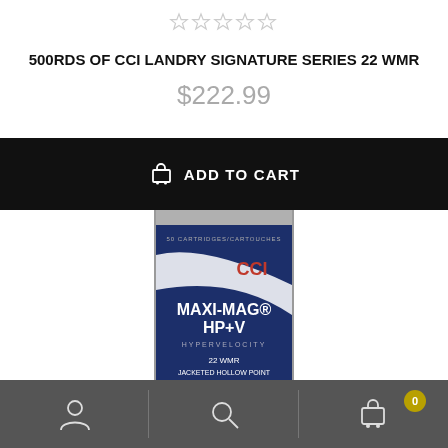[Figure (other): Five empty/unfilled star rating icons]
500RDS OF CCI LANDRY SIGNATURE SERIES 22 WMR
$222.99
ADD TO CART
[Figure (photo): CCI Maxi-Mag HP+V Hypervelocity 22 WMR Jacketed Hollow Point 1200 FPS ammunition box/brick — navy blue and silver packaging with red CCI logo]